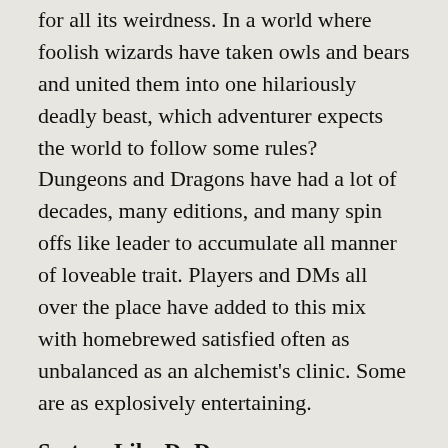for all its weirdness. In a world where foolish wizards have taken owls and bears and united them into one hilariously deadly beast, which adventurer expects the world to follow some rules? Dungeons and Dragons have had a lot of decades, many editions, and many spin offs like leader to accumulate all manner of loveable trait. Players and DMs all over the place have added to this mix with homebrewed satisfied often as unbalanced as an alchemist's clinic. Some are as explosively entertaining.
System Like DnD:
The point of a dice based system like d&d memes is that it abstracts the world to make the job of the players and the DM more convenient. From time to time, though, that results in a tradeoff between narrative interesting or fun and rationally logical. The d...